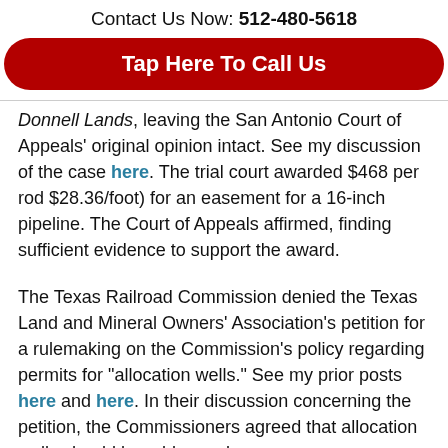Contact Us Now: 512-480-5618
[Figure (other): Red rounded button with white text: Tap Here To Call Us]
Donnell Lands, leaving the San Antonio Court of Appeals’ original opinion intact. See my discussion of the case here. The trial court awarded $468 per rod $28.36/foot) for an easement for a 16-inch pipeline. The Court of Appeals affirmed, finding sufficient evidence to support the award.
The Texas Railroad Commission denied the Texas Land and Mineral Owners’ Association’s petition for a rulemaking on the Commission’s policy regarding permits for “allocation wells.” See my prior posts here and here. In their discussion concerning the petition, the Commissioners agreed that allocation wells should be addressed